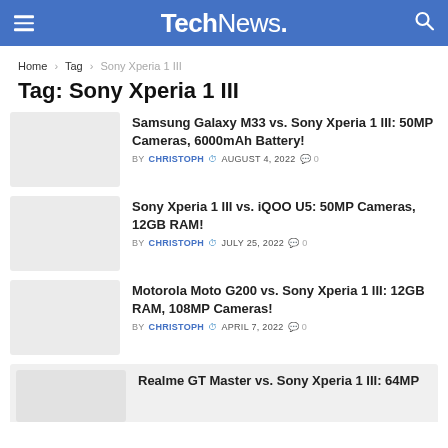TechNews.
Home > Tag > Sony Xperia 1 III
Tag: Sony Xperia 1 III
Samsung Galaxy M33 vs. Sony Xperia 1 III: 50MP Cameras, 6000mAh Battery! BY CHRISTOPH AUGUST 4, 2022 0
Sony Xperia 1 III vs. iQOO U5: 50MP Cameras, 12GB RAM! BY CHRISTOPH JULY 25, 2022 0
Motorola Moto G200 vs. Sony Xperia 1 III: 12GB RAM, 108MP Cameras! BY CHRISTOPH APRIL 7, 2022 0
Realme GT Master vs. Sony Xperia 1 III: 64MP